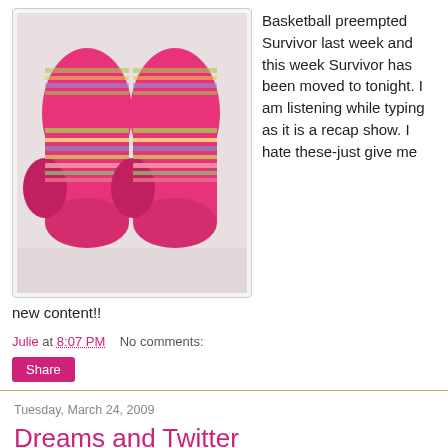[Figure (photo): Two colorful knitted socks in pink, green, yellow, purple and multicolor stripes laid on a white surface]
Basketball preempted Survivor last week and this week Survivor has been moved to tonight. I am listening while typing as it is a recap show. I hate these-just give me new content!!
Julie at 8:07 PM   No comments:
Share
Tuesday, March 24, 2009
Dreams and Twitter
Last night I had some wild dreams. In the first dream I was still in University. That was over 20 years ago but this is a